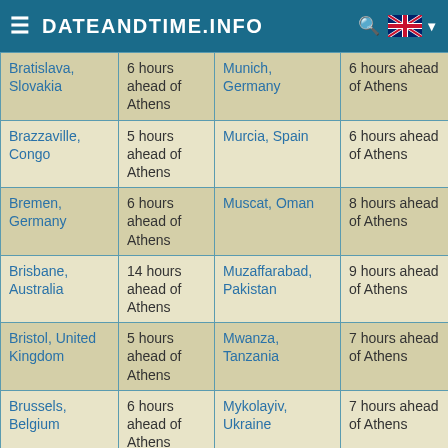DATEANDTIME.INFO
| City | Time difference | City | Time difference |
| --- | --- | --- | --- |
| Bratislava, Slovakia | 6 hours ahead of Athens | Munich, Germany | 6 hours ahead of Athens |
| Brazzaville, Congo | 5 hours ahead of Athens | Murcia, Spain | 6 hours ahead of Athens |
| Bremen, Germany | 6 hours ahead of Athens | Muscat, Oman | 8 hours ahead of Athens |
| Brisbane, Australia | 14 hours ahead of Athens | Muzaffarabad, Pakistan | 9 hours ahead of Athens |
| Bristol, United Kingdom | 5 hours ahead of Athens | Mwanza, Tanzania | 7 hours ahead of Athens |
| Brussels, Belgium | 6 hours ahead of Athens | Mykolayiv, Ukraine | 7 hours ahead of Athens |
| Bucaramanga, | 1 hour behind | N'Djamena, | 5 hours ahead of |